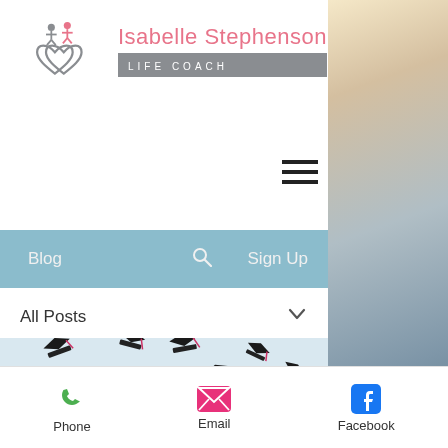[Figure (logo): Isabelle Stephenson Life Coach logo with two interlinked hearts and figures above, pink text name, grey subtitle bar]
[Figure (other): Hamburger menu icon (three horizontal lines)]
[Figure (screenshot): Navigation bar with Blog, search icon, and Sign Up on a steel-blue background]
All Posts
[Figure (photo): Graduation caps being tossed in the air against a light blue sky]
[Figure (infographic): Bottom toolbar with Phone (green phone icon), Email (pink envelope icon), Facebook (blue Facebook icon)]